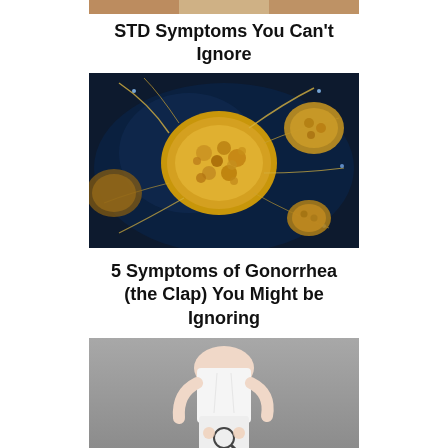[Figure (photo): Partial top strip of a photo, cropped at the top of the page]
STD Symptoms You Can't Ignore
[Figure (photo): Microscopic image of yellow-brown bacteria/pathogen cells with filaments on a dark blue background]
5 Symptoms of Gonorrhea (the Clap) You Might be Ignoring
[Figure (photo): Woman in white outfit holding a magnifying glass near her lower abdomen against a grey background]